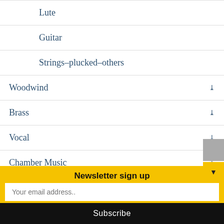Lute
Guitar
Strings–plucked–others
Woodwind
Brass
Vocal
Chamber Music
Newsletter sign up
Your email address..
Subscribe